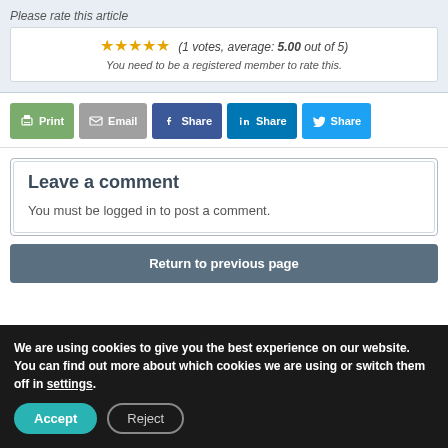Please rate this article
(1 votes, average: 5.00 out of 5) You need to be a registered member to rate this.
Print | Email | Share | Share | Share
Leave a comment
You must be logged in to post a comment.
Return to previous page
We are using cookies to give you the best experience on our website. You can find out more about which cookies we are using or switch them off in settings.
Accept | Reject